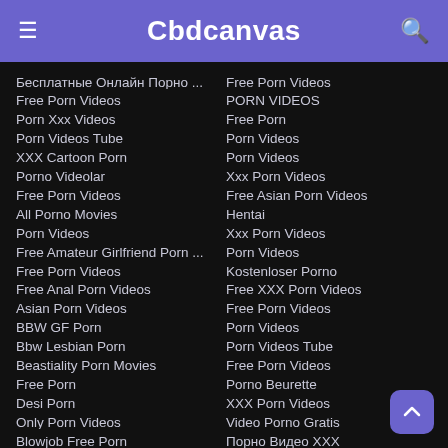Cbdcanvas
Бесплатные Онлайн Порно ...
Free Porn Videos
Porn Xxx Videos
Porn Videos Tube
XXX Cartoon Porn
Porno Videolar
Free Porn Videos
All Porno Movies
Porn Videos
Free Amateur Girlfriend Porn ...
Free Porn Videos
Free Anal Porn Videos
Asian Porn Videos
BBW GF Porn
Bbw Lesbian Porn
Beastiality Porn Movies
Free Porn
Desi Porn
Only Porn Videos
Blowjob Free Porn
Free Porn Videos
PORN VIDEOS
Free Porn
Porn Videos
Porn Videos
Xxx Porn Videos
Free Asian Porn Videos
Hentai
Xxx Porn Videos
Porn Videos
Kostenloser Porno
Free XXX Porn Videos
Free Porn Videos
Porn Videos
Porn Videos Tube
Free Porn Videos
Porno Beurette
XXX Porn Videos
Video Porno Gratis
Порно Видео XXX